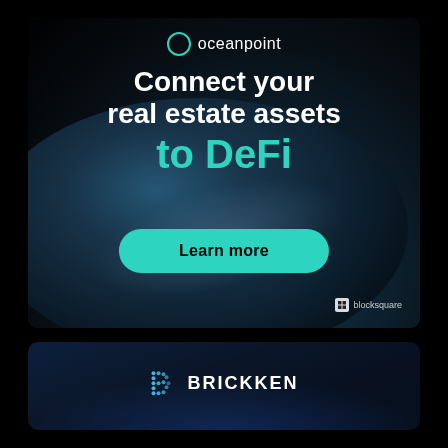[Figure (infographic): Oceanpoint DeFi advertisement banner showing Earth from space with text 'Connect your real estate assets to DeFi' and a 'Learn more' button. Powered by Blocksquare logo in bottom right.]
[Figure (logo): Brickken logo on dark navy/blue gradient background with a stylized 'B' icon made of dots/pixels and the word BRICKKEN in white capital letters.]